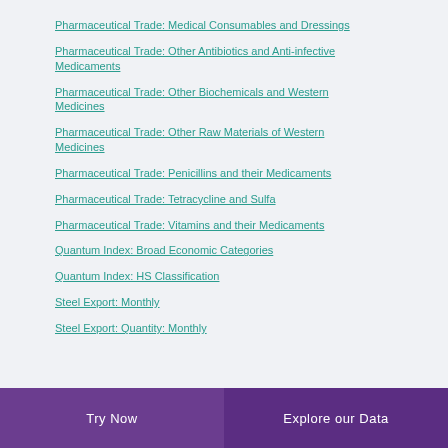Pharmaceutical Trade: Medical Consumables and Dressings
Pharmaceutical Trade: Other Antibiotics and Anti-infective Medicaments
Pharmaceutical Trade: Other Biochemicals and Western Medicines
Pharmaceutical Trade: Other Raw Materials of Western Medicines
Pharmaceutical Trade: Penicillins and their Medicaments
Pharmaceutical Trade: Tetracycline and Sulfa
Pharmaceutical Trade: Vitamins and their Medicaments
Quantum Index: Broad Economic Categories
Quantum Index: HS Classification
Steel Export: Monthly
Steel Export: Quantity: Monthly
Try Now | Explore our Data